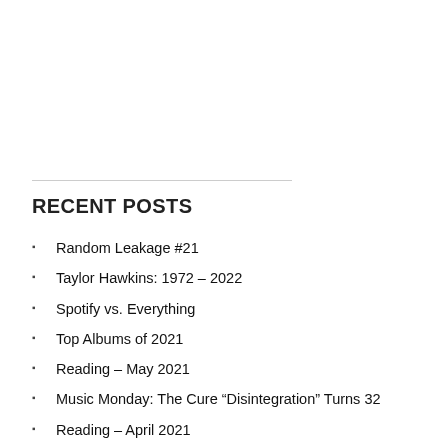RECENT POSTS
Random Leakage #21
Taylor Hawkins: 1972 – 2022
Spotify vs. Everything
Top Albums of 2021
Reading – May 2021
Music Monday: The Cure “Disintegration” Turns 32
Reading – April 2021
Music Monday: 50 Years of “Sticky Fingers”
Music Monday: CHVRCHES “He Said She Said”
Music Monday: My Favorite Song by Tom Petty